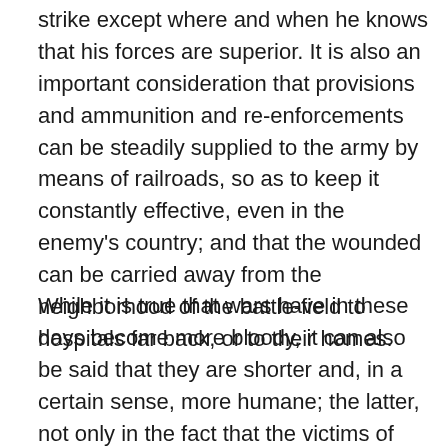strike except where and when he knows that his forces are superior. It is also an important consideration that provisions and ammunition and re-enforcements can be steadily supplied to the army by means of railroads, so as to keep it constantly effective, even in the enemy's country; and that the wounded can be carried away from the neighborhood of the battle-field to hospitals far back, or to their homes.
While it is true that wars have in these days become more bloody, it can also be said that they are shorter and, in a certain sense, more humane; the latter, not only in the fact that the victims of battle receive better care, but also that the peaceful population of the country visited by war are, by means of the improved facilities for communication, spared the burden of maintaining the invading army. The greater part of the cruelty and barbarity of former wars arose from the fact that the troops had to be supported by